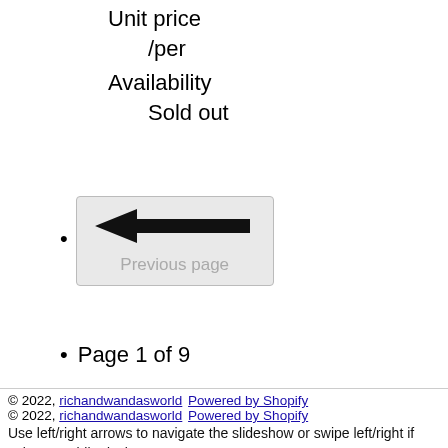Unit price /per
Availability Sold out
Previous page (button with left arrow)
Page 1 of 9
[Figure (illustration): Large black right-pointing arrow icon]
Next page
© 2022, richandwandasworld Powered by Shopify
© 2022, richandwandasworld Powered by Shopify
Use left/right arrows to navigate the slideshow or swipe left/right if using a mobile device